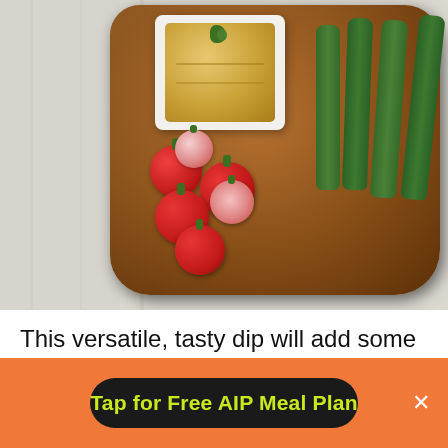[Figure (photo): Overhead photo of a wooden cutting board with a white square bowl of hummus/dip garnished with a herb, radishes, and cucumber sticks arranged on it, on a white wooden surface.]
This versatile, tasty dip will add some flavor to your veggies without
Tap for Free AIP Meal Plan